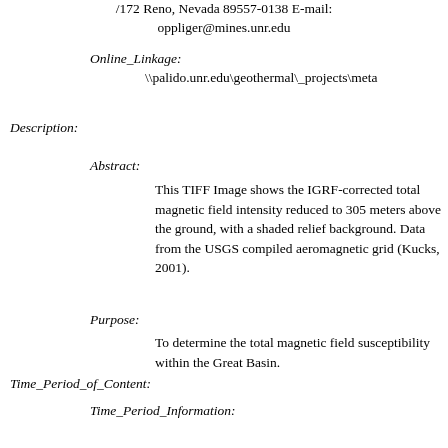/172 Reno, Nevada 89557-0138 E-mail: oppliger@mines.unr.edu
Online_Linkage: \\palido.unr.edu\geothermal\_projects\meta
Description:
Abstract:
This TIFF Image shows the IGRF-corrected total magnetic field intensity reduced to 305 meters above the ground, with a shaded relief background. Data from the USGS compiled aeromagnetic grid (Kucks, 2001).
Purpose:
To determine the total magnetic field susceptibility within the Great Basin.
Time_Period_of_Content:
Time_Period_Information:
Single_Date/Time:
Calendar_Date:
REQUIRED: The year (and optionally month, or month and